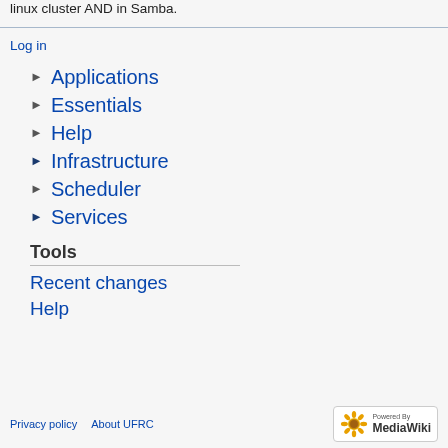linux cluster AND in Samba.
Log in
► Applications
► Essentials
► Help
► Infrastructure
► Scheduler
► Services
Tools
Recent changes
Help
Privacy policy   About UFRC